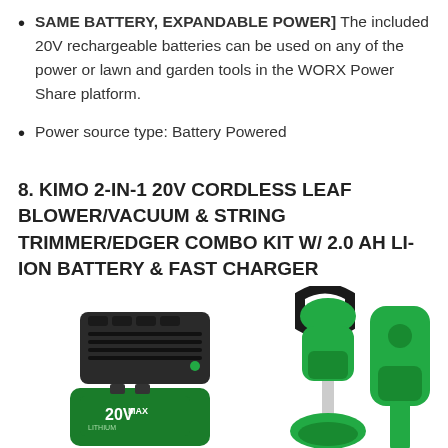SAME BATTERY, EXPANDABLE POWER] The included 20V rechargeable batteries can be used on any of the power or lawn and garden tools in the WORX Power Share platform.
Power source type: Battery Powered
8. KIMO 2-IN-1 20V CORDLESS LEAF BLOWER/VACUUM & STRING TRIMMER/EDGER COMBO KIT W/ 2.0 AH LI-ION BATTERY & FAST CHARGER
[Figure (photo): Product photo showing KIMO 20V cordless tool combo kit including a battery charger, 20V MAX lithium battery, and green cordless string trimmer/edger tool]